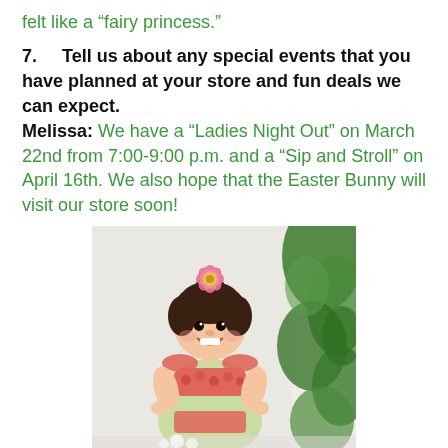felt like a “fairy princess.”
7.   Tell us about any special events that you have planned at your store and fun deals we can expect. Melissa: We have a “Ladies Night Out” on March 22nd from 7:00-9:00 p.m. and a “Sip and Stroll” on April 16th. We also hope that the Easter Bunny will visit our store soon!
[Figure (photo): A smiling young toddler girl wearing a light green and floral red dress with ruffle shoulders, a pink gerbera daisy flower in her hair, posed in front of a white background with green foliage on the right side.]